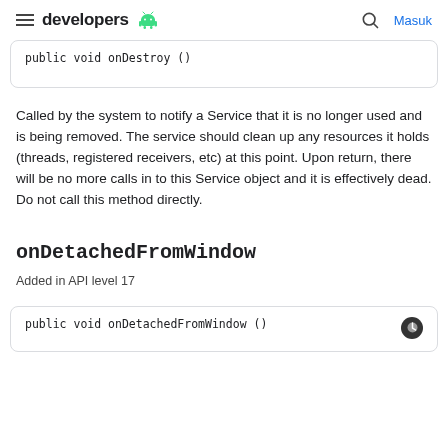developers [android icon] | [search icon] Masuk
Called by the system to notify a Service that it is no longer used and is being removed. The service should clean up any resources it holds (threads, registered receivers, etc) at this point. Upon return, there will be no more calls in to this Service object and it is effectively dead. Do not call this method directly.
onDetachedFromWindow
Added in API level 17